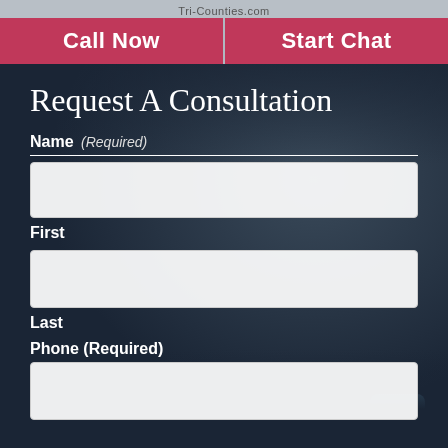Tri-Counties.com
Call Now
Start Chat
Request A Consultation
Name (Required)
First
Last
Phone (Required)